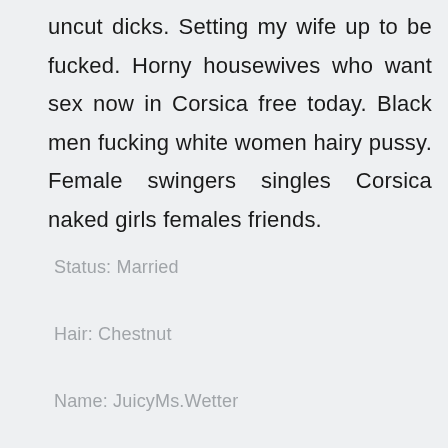uncut dicks. Setting my wife up to be fucked. Horny housewives who want sex now in Corsica free today. Black men fucking white women hairy pussy. Female swingers singles Corsica naked girls females friends.
Status: Married
Hair: Chestnut
Name: JuicyMs.Wetter